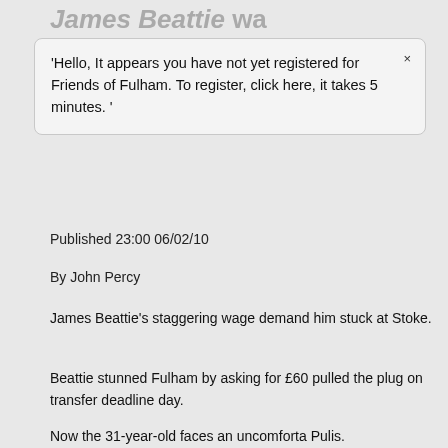James Beattie wa
'Hello, It appears you have not yet registered for Friends of Fulham. To register, click here, it takes 5 minutes. '
Published 23:00 06/02/10
By John Percy
James Beattie's staggering wage demand him stuck at Stoke.
Beattie stunned Fulham by asking for £60 pulled the plug on transfer deadline day.
Now the 31-year-old faces an uncomforta Pulis.
The pair clashed in the dressing room at A only one Premier League game since.
It is a similar situation for £5.5m misfit Da nothing in the January transfer window.
Pulis said: "James and Dave are still here